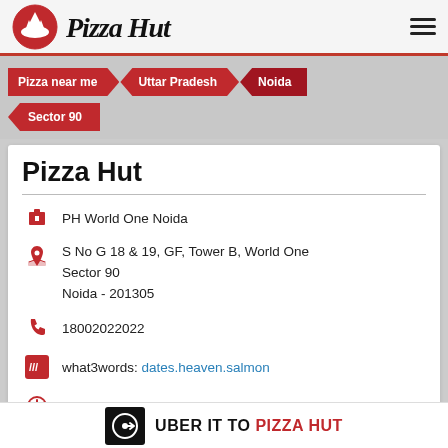[Figure (logo): Pizza Hut logo with red circle and chef hat icon, italic bold Pizza Hut text]
Pizza near me > Uttar Pradesh > Noida > Sector 90
Pizza Hut
PH World One Noida
S No G 18 & 19, GF, Tower B, World One
Sector 90
Noida - 201305
18002022022
what3words: dates.heaven.salmon
Open until 11:00 PM    OPEN NOW
UBER IT TO PIZZA HUT